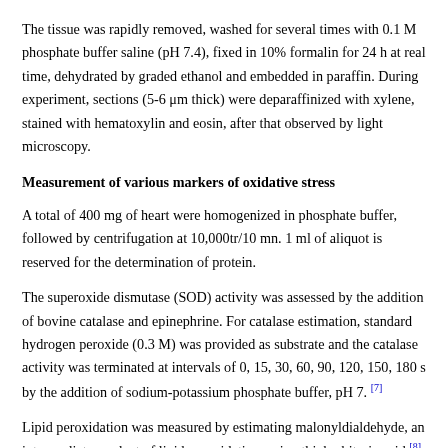The tissue was rapidly removed, washed for several times with 0.1 M phosphate buffer saline (pH 7.4), fixed in 10% formalin for 24 h at real time, dehydrated by graded ethanol and embedded in paraffin. During experiment, sections (5-6 μm thick) were deparaffinized with xylene, stained with hematoxylin and eosin, after that observed by light microscopy.
Measurement of various markers of oxidative stress
A total of 400 mg of heart were homogenized in phosphate buffer, followed by centrifugation at 10,000tr/10 mn. 1 ml of aliquot is reserved for the determination of protein.
The superoxide dismutase (SOD) activity was assessed by the addition of bovine catalase and epinephrine. For catalase estimation, standard hydrogen peroxide (0.3 M) was provided as substrate and the catalase activity was terminated at intervals of 0, 15, 30, 60, 90, 120, 150, 180 s by the addition of sodium-potassium phosphate buffer, pH 7. [7]
Lipid peroxidation was measured by estimating malonyldialdehyde, an intermediate product of lipid peroxidation, using thiobarbituric acid. [8] For...